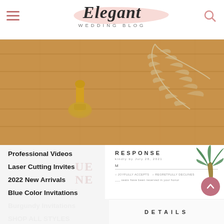Elegant WEDDING BLOG
[Figure (photo): Overhead flat lay photo of dried fern leaves and a gold wax seal stamp on a wooden board background, with tropical wedding invitation stationery partially visible in lower right]
Professional Videos
Laser Cutting Invites
2022 New Arrivals
Blue Color Invitations
Burgundy Invitations
SHOP ALL STYLES
RESPONSE
kindly by July 28, 2021
M
joyfully accepts  regretfully declines
___ seats have been reserved in your honor
DETAILS